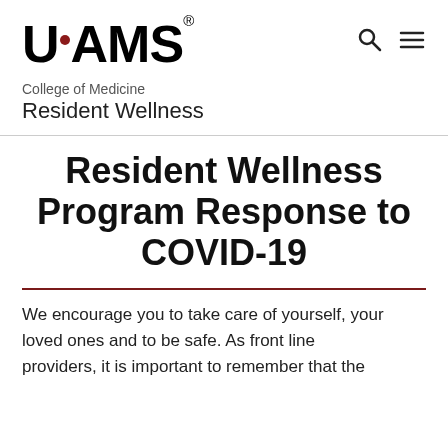[Figure (logo): UAMS logo with red dot between U and A, followed by MS and registered trademark symbol]
College of Medicine
Resident Wellness
Resident Wellness Program Response to COVID-19
We encourage you to take care of yourself, your loved ones and to be safe. As front line providers, it is important to remember that the